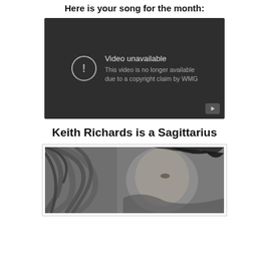Here is your song for the month:
[Figure (screenshot): Embedded YouTube video player showing error: 'Video unavailable. This video is no longer available due to a copyright claim by WMG']
Keith Richards is a Sagittarius
[Figure (photo): Black and white photograph of Keith Richards with windswept hair, looking upward]